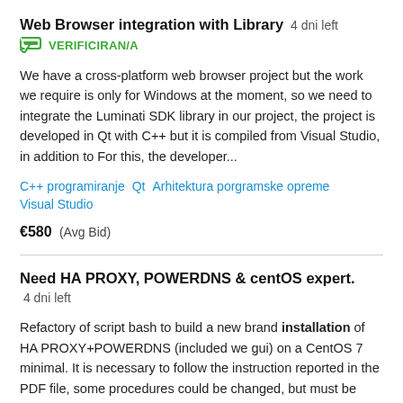Web Browser integration with Library  4 dni left
VERIFICIRAN/A
We have a cross-platform web browser project but the work we require is only for Windows at the moment, so we need to integrate the Luminati SDK library in our project, the project is developed in Qt with C++ but it is compiled from Visual Studio, in addition to For this, the developer...
C++ programiranje   Qt   Arhitektura porgramske opreme   Visual Studio
€580   (Avg Bid)
Need HA PROXY, POWERDNS & centOS expert.  4 dni left
Refactory of script bash to build a new brand installation of HA PROXY+POWERDNS (included we gui) on a CentOS 7 minimal. It is necessary to follow the instruction reported in the PDF file, some procedures could be changed, but must be agreed upon before. The original